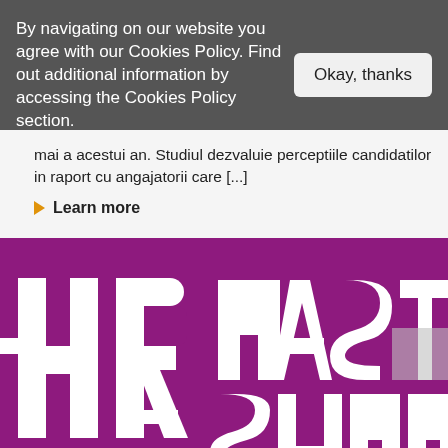By navigating on our website you agree with our Cookies Policy. Find out additional information by accessing the Cookies Policy section.
Okay, thanks
mai a acestui an. Studiul dezvaluie perceptiile candidatilor in raport cu angajatorii care [...]
Learn more
[Figure (logo): HR Master Summit logo on purple/magenta background. Large white letters 'HR' on the left and 'MASTER SUMMI' text on the right, all in bold white block letters on a deep magenta/purple background.]